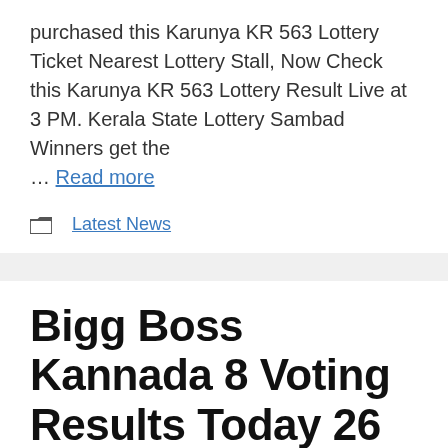purchased this Karunya KR 563 Lottery Ticket Nearest Lottery Stall, Now Check this Karunya KR 563 Lottery Result Live at 3 PM. Kerala State Lottery Sambad Winners get the … Read more
Latest News
Bigg Boss Kannada 8 Voting Results Today 26 April 2021: Rajeev gets evicted